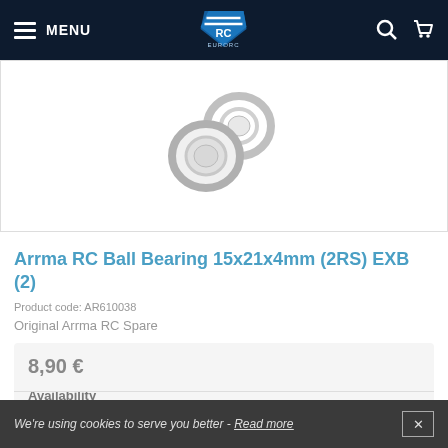MENU | EuroRC | Search | Cart
[Figure (photo): Two ball bearings (ring-shaped metal components) on a white background]
Arrma RC Ball Bearing 15x21x4mm (2RS) EXB (2)
Product code: AR610038
Original Arrma RC Spare
8,90 €
Availability
Temporarily out of stock
We're using cookies to serve you better - Read more  ✕